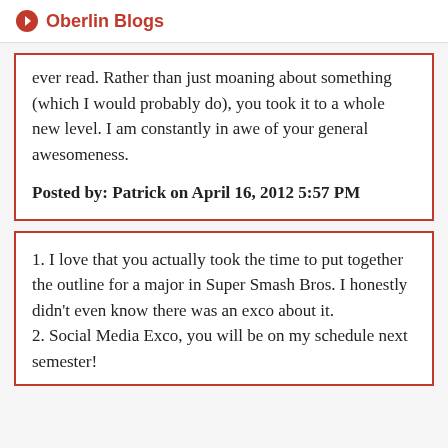Oberlin Blogs
ever read. Rather than just moaning about something (which I would probably do), you took it to a whole new level. I am constantly in awe of your general awesomeness.
Posted by: Patrick on April 16, 2012 5:57 PM
1. I love that you actually took the time to put together the outline for a major in Super Smash Bros. I honestly didn't even know there was an exco about it.
2. Social Media Exco, you will be on my schedule next semester!